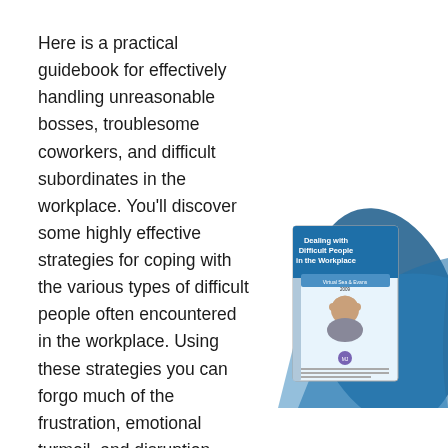Here is a practical guidebook for effectively handling unreasonable bosses, troublesome coworkers, and difficult subordinates in the workplace. You'll discover some highly effective strategies for coping with the various types of difficult people often encountered in the workplace. Using these strategies you can forgo much of the frustration, emotional turmoil, and disruption difficult people can inflict on your peace...
[Figure (illustration): Book cover showing 'Dealing with Difficult People in the Workplace' with a blue wave background and a woman holding her head in her hands, in front of a decorative blue swoosh design.]